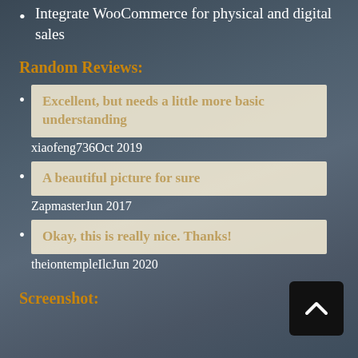Integrate WooCommerce for physical and digital sales
Random Reviews:
Excellent, but needs a little more basic understanding
xiaofeng736Oct 2019
A beautiful picture for sure
ZapmasterJun 2017
Okay, this is really nice. Thanks!
theiontempleIlcJun 2020
Screenshot: